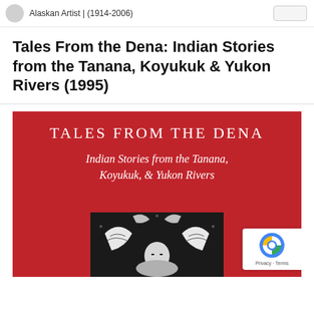Alaskan Artist | (1914-2006)
Tales From the Dena: Indian Stories from the Tanana, Koyukuk & Yukon Rivers (1995)
[Figure (illustration): Book cover for 'Tales From the Dena: Indian Stories from the Tanana, Koyukuk, & Yukon Rivers'. Red background with white serif title text at top reading 'TALES FROM THE DENA' and italic subtitle 'Indian Stories from the Tanana, Koyukuk, & Yukon Rivers'. At the bottom is a black and white woodcut-style illustration of a figure surrounded by birds or ravens.]